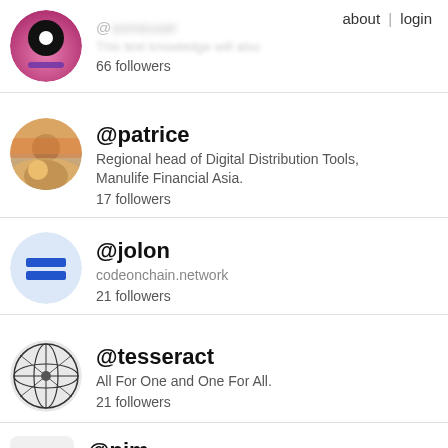about | login
[Figure (illustration): Circular avatar with black and white circular icon on pink gradient background, partially visible username and bio, 66 followers]
66 followers
[Figure (photo): Circular avatar photo of two people outdoors]
@patrice
Regional head of Digital Distribution Tools, Manulife Financial Asia.
17 followers
[Figure (logo): Circular light-blue avatar with two horizontal blue bars (equals sign logo)]
@jolon
codeonchain.network
21 followers
[Figure (logo): Circular avatar with geometric wire-frame globe/tesseract logo in black and white]
@tesseract
All For One and One For All.
21 followers
[Figure (illustration): Small square avatar placeholder with grey icon]
@pjm
10 followers
[Figure (photo): Circular dark avatar, partially visible at bottom]
@lambocoin